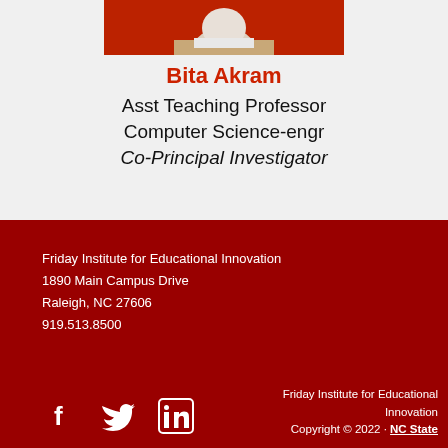[Figure (photo): Profile photo of Bita Akram (partially cropped at top)]
Bita Akram
Asst Teaching Professor
Computer Science-engr
Co-Principal Investigator
Friday Institute for Educational Innovation
1890 Main Campus Drive
Raleigh, NC 27606
919.513.8500
[Figure (logo): Social media icons: Facebook, Twitter, LinkedIn]
Friday Institute for Educational Innovation
Copyright © 2022 · NC State